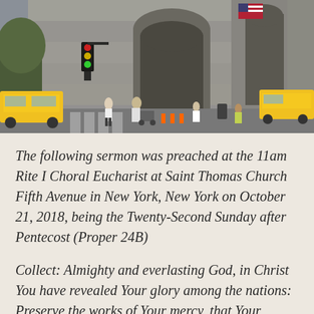[Figure (photo): Exterior photograph of Saint Thomas Church Fifth Avenue in New York City. The Gothic stone facade is visible with a large arched entrance. Street scene shows pedestrians crossing, yellow taxis, traffic lights, and an American flag visible on the building. Trees are visible on the left side.]
The following sermon was preached at the 11am Rite I Choral Eucharist at Saint Thomas Church Fifth Avenue in New York, New York on October 21, 2018, being the Twenty-Second Sunday after Pentecost (Proper 24B)
Collect: Almighty and everlasting God, in Christ You have revealed Your glory among the nations: Preserve the works of Your mercy, that Your Church throughout the world may persevere with steadfast faith in the confession of Your Name; through Jesus